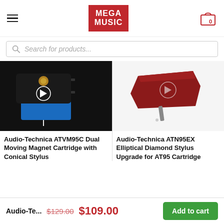Mega Music — navigation header with hamburger menu and cart (0 items)
Search for products...
[Figure (photo): Audio-Technica ATVM95C Dual Moving Magnet Cartridge with Conical Stylus — black cartridge body with blue base on black background]
Audio-Technica ATVM95C Dual Moving Magnet Cartridge with Conical Stylus
[Figure (photo): Audio-Technica ATN95EX Elliptical Diamond Stylus Upgrade for AT95 Cartridge — dark red/maroon stylus on white background]
Audio-Technica ATN95EX Elliptical Diamond Stylus Upgrade for AT95 Cartridge
Audio-Te...  $129.00  $109.00  Add to cart